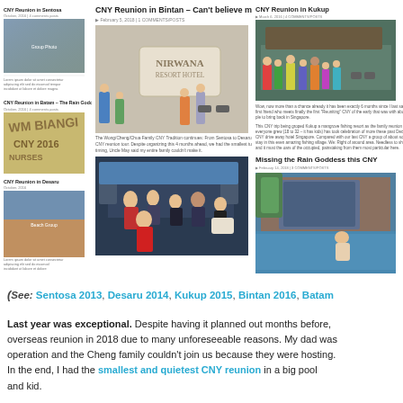[Figure (photo): Blog screenshot collage showing multiple CNY reunion blog posts with photos: left column has three mini posts (CNY Reunion in Sentosa, CNY Reunion in Batam - Rain Goddess Strikes Again, CNY Reunion in Desaru), center column shows CNY Reunion in Bintan article with Nirwana Resort Hotel photo and ferry/boat interior photo, right column shows CNY Reunion in Kukup with group photo and Missing the Rain Goddess this CNY with pool/sculpture photo]
(See: Sentosa 2013, Desaru 2014, Kukup 2015, Bintan 2016, Batam
Last year was exceptional. Despite having it planned out months before, overseas reunion in 2018 due to many unforeseeable reasons. My dad was operation and the Cheng family couldn't join us because they were hosting In the end, I had the smallest and quietest CNY reunion in a big pool and kid.